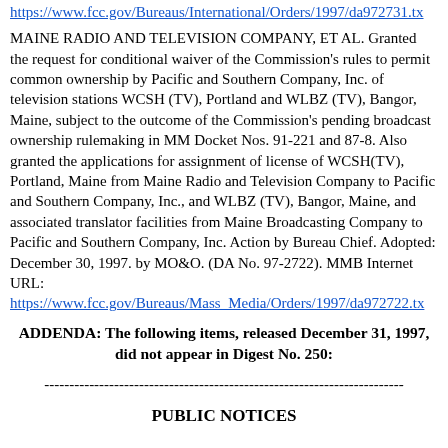https://www.fcc.gov/Bureaus/International/Orders/1997/da972731.tx
MAINE RADIO AND TELEVISION COMPANY, ET AL. Granted the request for conditional waiver of the Commission's rules to permit common ownership by Pacific and Southern Company, Inc. of television stations WCSH (TV), Portland and WLBZ (TV), Bangor, Maine, subject to the outcome of the Commission's pending broadcast ownership rulemaking in MM Docket Nos. 91-221 and 87-8. Also granted the applications for assignment of license of WCSH(TV), Portland, Maine from Maine Radio and Television Company to Pacific and Southern Company, Inc., and WLBZ (TV), Bangor, Maine, and associated translator facilities from Maine Broadcasting Company to Pacific and Southern Company, Inc. Action by Bureau Chief. Adopted: December 30, 1997. by MO&O. (DA No. 97-2722). MMB Internet URL:
https://www.fcc.gov/Bureaus/Mass_Media/Orders/1997/da972722.tx
ADDENDA: The following items, released December 31, 1997, did not appear in Digest No. 250:
------------------------------------------------------------------------
PUBLIC NOTICES